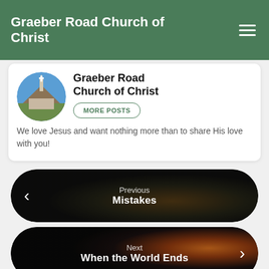Graeber Road Church of Christ
Graeber Road Church of Christ
We love Jesus and want nothing more than to share His love with you!
[Figure (screenshot): Previous post navigation pill with dark background and soccer ball image, labeled 'Previous' and 'Mistakes']
[Figure (screenshot): Next post navigation pill with dark space/explosion image, labeled 'Next' and 'When the World Ends']